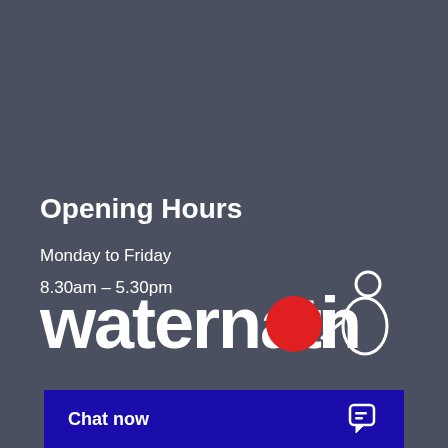Opening Hours
Monday to Friday
8.30am – 5.30pm
[Figure (logo): Waternation logo — white text 'waternation' with a red circle replacing the letter 'o', and a white stick figure icon to the right]
Chat now